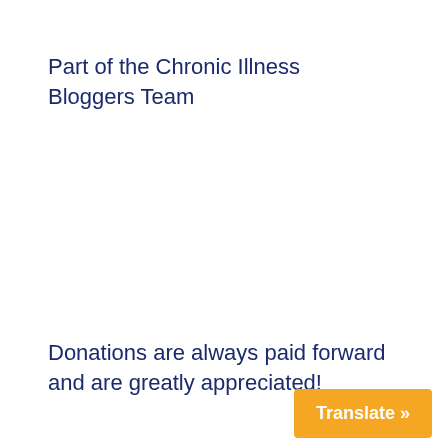Part of the Chronic Illness Bloggers Team
Donations are always paid forward and are greatly appreciated!
Translate »